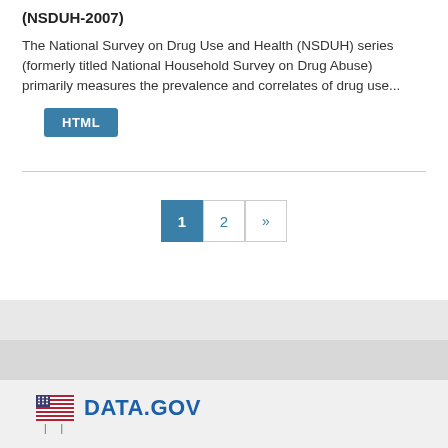(NSDUH-2007)
The National Survey on Drug Use and Health (NSDUH) series (formerly titled National Household Survey on Drug Abuse) primarily measures the prevalence and correlates of drug use...
HTML
1  2  »
[Figure (logo): DATA.GOV logo with American flag icon]